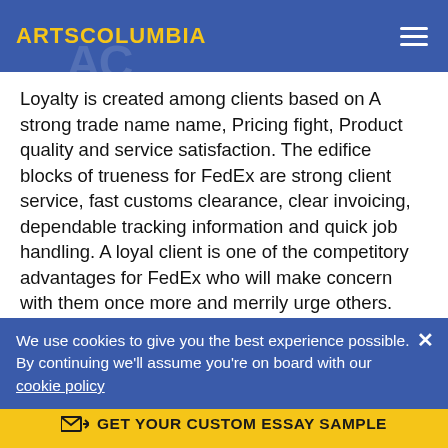ARTSCOLUMBIA
Loyalty is created among clients based on A strong trade name name, Pricing fight, Product quality and service satisfaction. The edifice blocks of trueness for FedEx are strong client service, fast customs clearance, clear invoicing, dependable tracking information and quick job handling. A loyal client is one of the competitory advantages for FedEx who will make concern with them once more and merrily urge others.
Corporate societal duty:
FedEx recognizes that their societal duty is greater than the merchandises they sell. The endeavor possible to be an ethical company, a better neighbour and a caring citizen in the communities where they live and work. They execute activities to better the
We use cookies to give you the best experience possible. By continuing we'll assume you're on board with our cookie policy
GET YOUR CUSTOM ESSAY SAMPLE